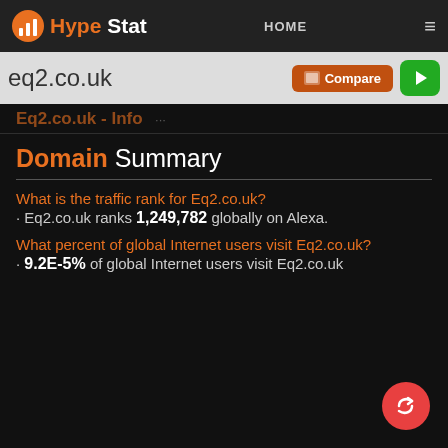HypeStat HOME ≡
eq2.co.uk  Compare ▶
Eq2.co.uk - Info
Domain Summary
What is the traffic rank for Eq2.co.uk?
Eq2.co.uk ranks 1,249,782 globally on Alexa.
What percent of global Internet users visit Eq2.co.uk?
9.2E-5% of global Internet users visit Eq2.co.uk